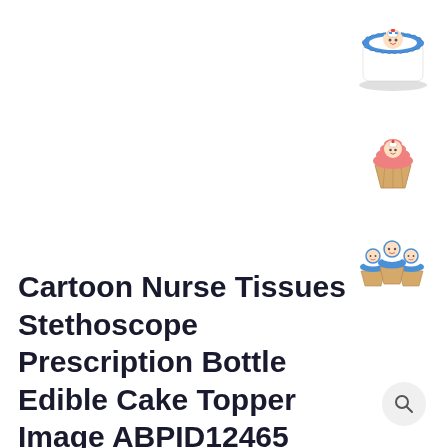[Figure (photo): Thumbnail of a round cake with blue border and cartoon nurse topper]
[Figure (photo): Thumbnail of a cupcake with pink frosting and cartoon nurse topper]
[Figure (photo): Thumbnail of three cupcakes with blue borders and cartoon nurse toppers]
Cartoon Nurse Tissues Stethoscope Prescription Bottle Edible Cake Topper Image ABPID12465